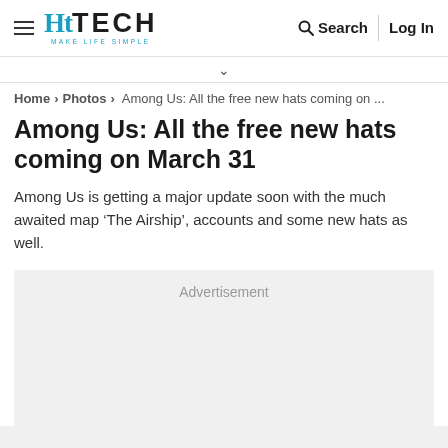HT TECH MAKE LIFE SIMPLE | Search | Log In
Home > Photos > Among Us: All the free new hats coming on ...
Among Us: All the free new hats coming on March 31
Among Us is getting a major update soon with the much awaited map ‘The Airship’, accounts and some new hats as well.
[Figure (other): Advertisement placeholder box]